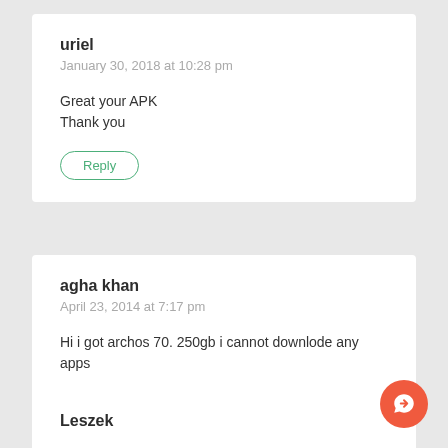uriel
January 30, 2018 at 10:28 pm
Great your APK
Thank you
Reply
agha khan
April 23, 2014 at 7:17 pm
Hi i got archos 70. 250gb i cannot downlode any apps
Reply
Leszek